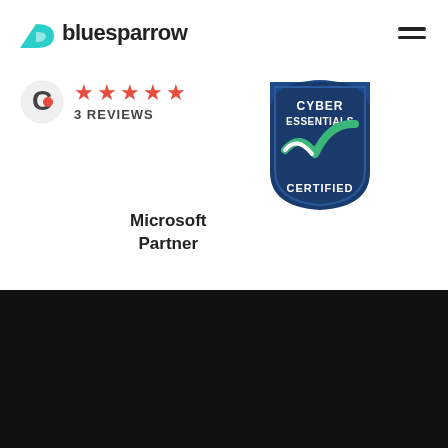[Figure (logo): Bluesparrow logo with cyan/teal bird icon and bold black text 'bluesparrow']
[Figure (logo): Clutch 5-star rating badge showing 5 red stars and '3 REVIEWS']
[Figure (logo): Cyber Essentials Certified badge - shield shape, dark blue with green/white checkmark]
[Figure (logo): Microsoft Partner text logo]
[Figure (logo): Bluesparrow icon (white on black background) in footer area]